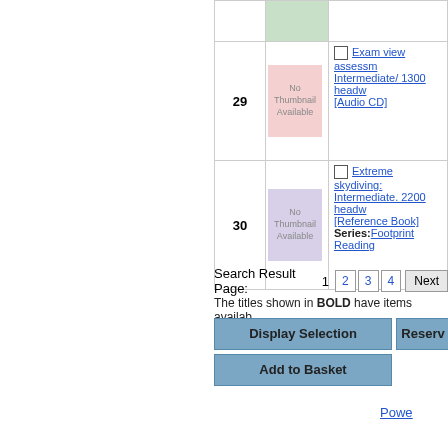| # | Thumbnail | Description |
| --- | --- | --- |
|  |  |  |
| 29 | No Thumbnail Available | Exam view assessment Intermediate/ 1300 headw [Audio CD] |
| 30 | No Thumbnail Available | Extreme skydiving: Intermediate. 2200 headw [Reference Book] Series: Footprint Reading |
Search Result Page:   1  2  3  4  Next
The titles shown in BOLD have items availab
Display Selection
Reserve
Add to Basket
Powe